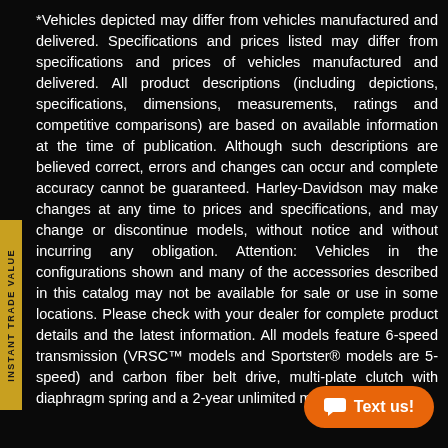*Vehicles depicted may differ from vehicles manufactured and delivered. Specifications and prices listed may differ from specifications and prices of vehicles manufactured and delivered. All product descriptions (including depictions, specifications, dimensions, measurements, ratings and competitive comparisons) are based on available information at the time of publication. Although such descriptions are believed correct, errors and changes can occur and complete accuracy cannot be guaranteed. Harley-Davidson may make changes at any time to prices and specifications, and may change or discontinue models, without notice and without incurring any obligation. Attention: Vehicles in the configurations shown and many of the accessories described in this catalog may not be available for sale or use in some locations. Please check with your dealer for complete product details and the latest information. All models feature 6-speed transmission (VRSC™ models and Sportster® models are 5-speed) and carbon fiber belt drive, multi-plate clutch with diaphragm spring and a 2-year unlimited mileage warranty.